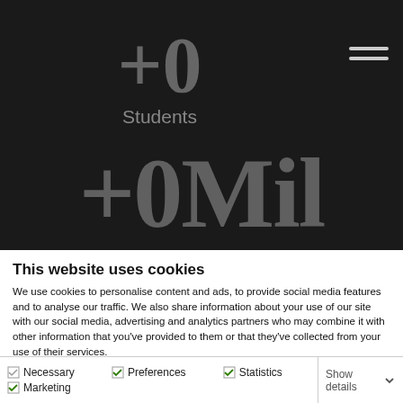+0
Students
+0Mil
This website uses cookies
We use cookies to personalise content and ads, to provide social media features and to analyse our traffic. We also share information about your use of our site with our social media, advertising and analytics partners who may combine it with other information that you've provided to them or that they've collected from your use of their services.
Deny | Allow selection | Allow all
Necessary | Preferences | Statistics | Marketing | Show details